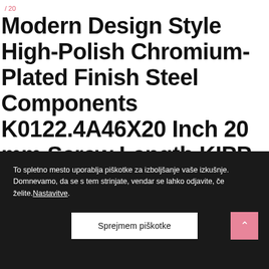/ 20 12 03 Invts 1 21
Modern Design Style High-Polish Chromium-Plated Finish Steel Components K0122.4A46X20 Inch 20 mm Screw Length KIPP Inc Kipp 06460-4A46X20 Zinc Adjustable
To spletno mesto uporablja piškotke za izboljšanje vaše izkušnje. Domnevamo, da se s tem strinjate, vendar se lahko odjavite, če želite.Nastavitve.
Sprejmem piškotke